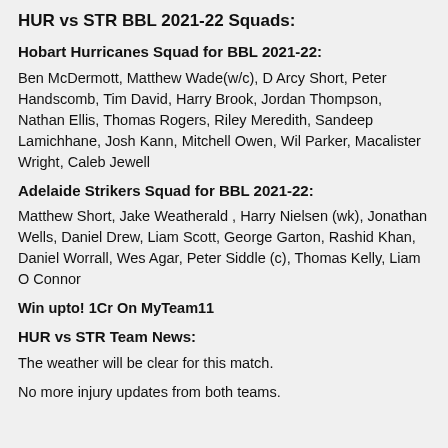HUR vs STR BBL 2021-22 Squads:
Hobart Hurricanes Squad for BBL 2021-22:
Ben McDermott, Matthew Wade(w/c), D Arcy Short, Peter Handscomb, Tim David, Harry Brook, Jordan Thompson, Nathan Ellis, Thomas Rogers, Riley Meredith, Sandeep Lamichhane, Josh Kann, Mitchell Owen, Wil Parker, Macalister Wright, Caleb Jewell
Adelaide Strikers Squad for BBL 2021-22:
Matthew Short, Jake Weatherald , Harry Nielsen (wk), Jonathan Wells, Daniel Drew, Liam Scott, George Garton, Rashid Khan, Daniel Worrall, Wes Agar, Peter Siddle (c), Thomas Kelly, Liam O Connor
Win upto! 1Cr On MyTeam11
HUR vs STR Team News:
The weather will be clear for this match.
No more injury updates from both teams.